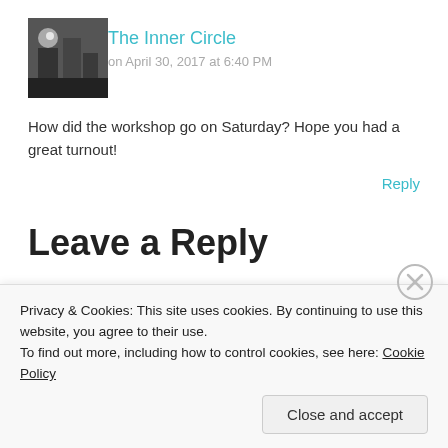[Figure (photo): Small square avatar thumbnail of a person or scene in grayscale/dark tones]
The Inner Circle
on April 30, 2017 at 6:40 PM
How did the workshop go on Saturday? Hope you had a great turnout!
Reply
Leave a Reply
Your email address will not be published. Required fields are marked *
Privacy & Cookies: This site uses cookies. By continuing to use this website, you agree to their use.
To find out more, including how to control cookies, see here: Cookie Policy
Close and accept